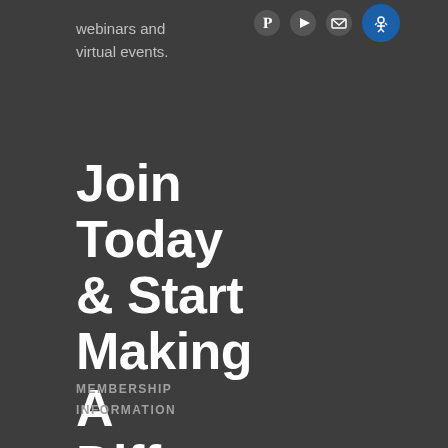webinars and virtual events.
Join Today & Start Making A Difference In Your Community.
MEMBERSHIP INFORMATION